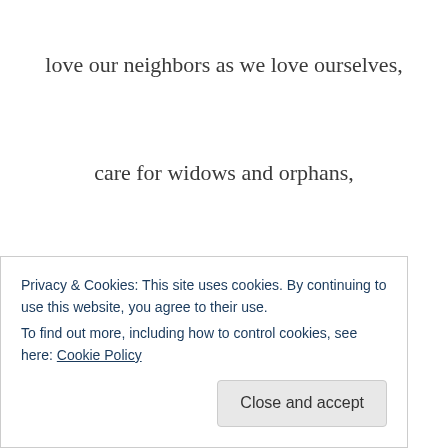love our neighbors as we love ourselves,
care for widows and orphans,
plead their cases,
feed the hungry,
clothe the naked,
visit the sick and the imprisoned,
resist and condemn judicial corruption and other official
Privacy & Cookies: This site uses cookies. By continuing to use this website, you agree to their use.
To find out more, including how to control cookies, see here: Cookie Policy
Close and accept